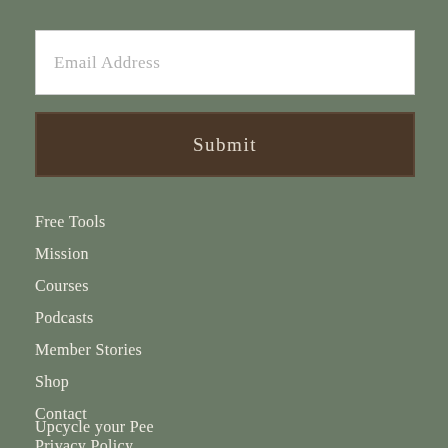Email Address
Submit
Free Tools
Mission
Courses
Podcasts
Member Stories
Shop
Contact
Privacy Policy
Terms & Conditions
Upcycle your Pee